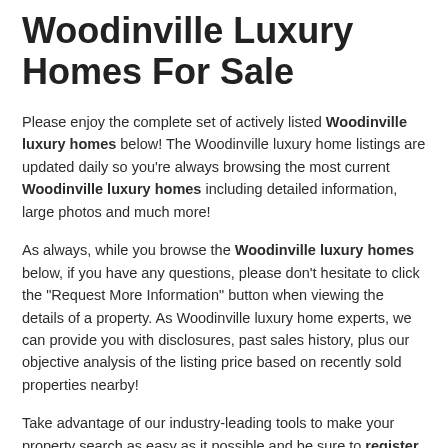Woodinville Luxury Homes For Sale
Please enjoy the complete set of actively listed Woodinville luxury homes below! The Woodinville luxury home listings are updated daily so you're always browsing the most current Woodinville luxury homes including detailed information, large photos and much more!
As always, while you browse the Woodinville luxury homes below, if you have any questions, please don't hesitate to click the "Request More Information" button when viewing the details of a property. As Woodinville luxury home experts, we can provide you with disclosures, past sales history, plus our objective analysis of the listing price based on recently sold properties nearby!
Take advantage of our industry-leading tools to make your property search as easy as it possible and be sure to register